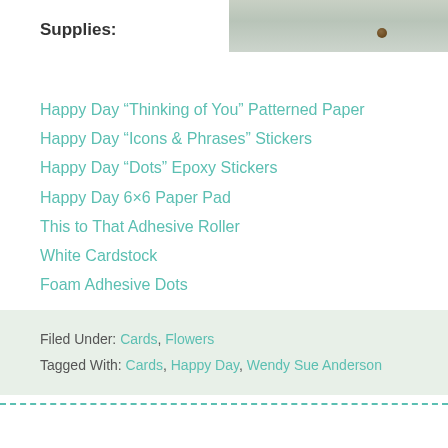[Figure (photo): Partial photo of a white-painted wood surface with a knot visible, cropped at top right of page]
Supplies:
Happy Day “Thinking of You” Patterned Paper
Happy Day “Icons & Phrases” Stickers
Happy Day “Dots” Epoxy Stickers
Happy Day 6×6 Paper Pad
This to That Adhesive Roller
White Cardstock
Foam Adhesive Dots
Filed Under: Cards, Flowers
Tagged With: Cards, Happy Day, Wendy Sue Anderson